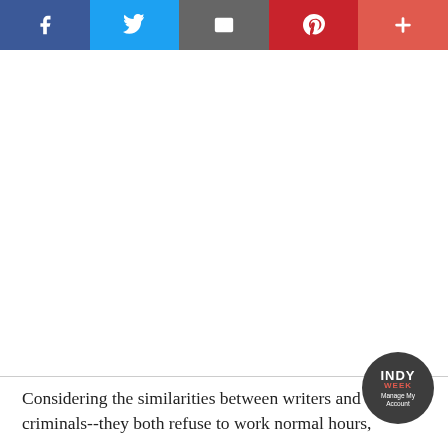[Figure (other): Social media share bar with buttons for Facebook, Twitter, Email, Pinterest, and More (+)]
[Figure (logo): INDY Week circular badge logo with 'Manage My Account' text]
Considering the similarities between writers and criminals--they both refuse to work normal hours,